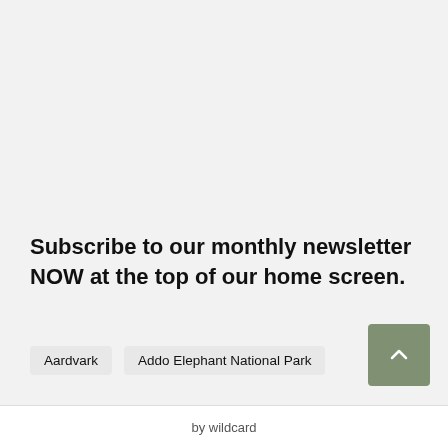Subscribe to our monthly newsletter NOW at the top of our home screen.
Aardvark
Addo Elephant National Park
by wildcard